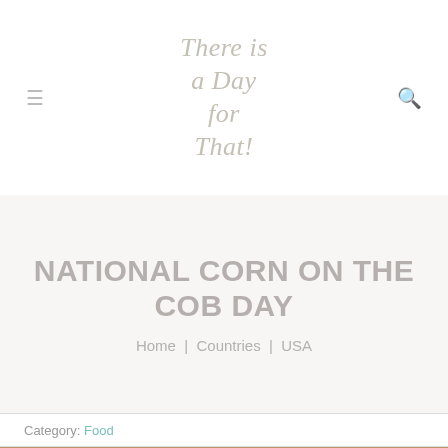There is a Day for That!
NATIONAL CORN ON THE COB DAY
Home | Countries | USA
Category: Food
[Figure (photo): Close-up photo of corn on the cob with husks partially pulled back, showing yellow kernels, with green leaves in background]